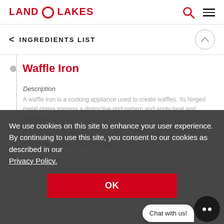LAND O LAKES
INGREDIENTS LIST
Waffle Iron
Description
A waffle iron is a cooking appliance...
A honeycomb of raised grids or ridges... waffles their appearance...
The waffle iron heats from the top and the
We use cookies on this site to enhance your user experience. By continuing to use this site, you consent to our cookies as described in our Privacy Policy.